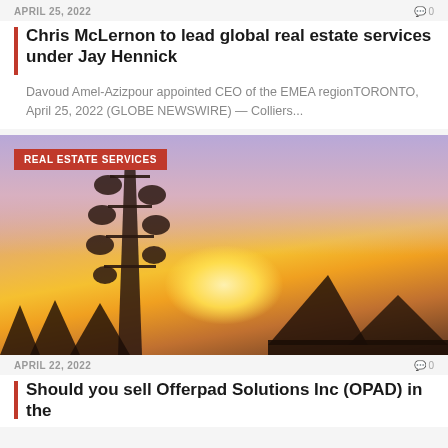APRIL 25, 2022   0
Chris McLernon to lead global real estate services under Jay Hennick
Davoud Amel-Azizpour appointed CEO of the EMEA regionTORONTO, April 25, 2022 (GLOBE NEWSWIRE) — Colliers...
[Figure (photo): Telecommunications tower silhouette at sunset with purple-pink sky, sun glow on horizon and mountain/tree silhouettes. Red badge overlay reading REAL ESTATE SERVICES.]
APRIL 22, 2022   0
Should you sell Offerpad Solutions Inc (OPAD) in the